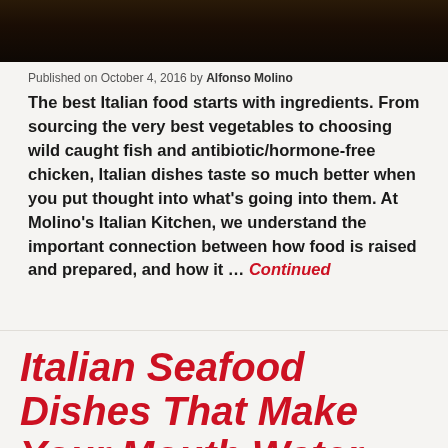[Figure (photo): Dark food photo strip at the top of the page, showing a dimly lit Italian food scene]
Published on October 4, 2016 by Alfonso Molino
The best Italian food starts with ingredients. From sourcing the very best vegetables to choosing wild caught fish and antibiotic/hormone-free chicken, Italian dishes taste so much better when you put thought into what's going into them. At Molino's Italian Kitchen, we understand the important connection between how food is raised and prepared, and how it … Continued
Italian Seafood Dishes That Make Your Mouth Water